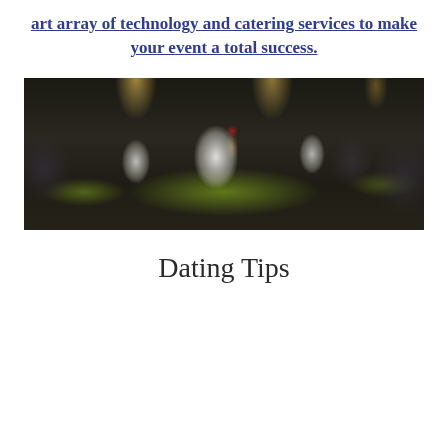art array of technology and catering services to make your event a total success.
[Figure (photo): Restaurant dining room with dark chairs, lime-green table runners, white folded napkins, a floral centerpiece with red flowers in a tan vase, warm overhead lighting in the background.]
Dating Tips